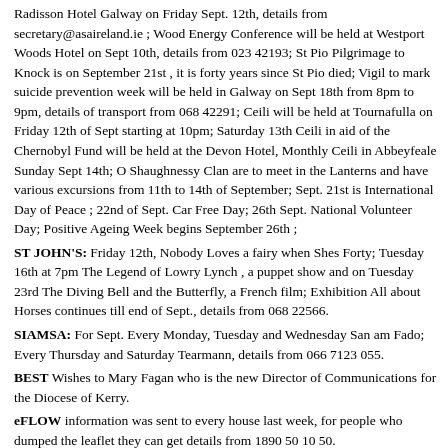Radisson Hotel Galway on Friday Sept. 12th, details from secretary@asaireland.ie ; Wood Energy Conference will be held at Westport Woods Hotel on Sept 10th, details from 023 42193; St Pio Pilgrimage to Knock is on September 21st , it is forty years since St Pio died; Vigil to mark suicide prevention week will be held in Galway on Sept 18th from 8pm to 9pm, details of transport from 068 42291; Ceili will be held at Tournafulla on Friday 12th of Sept starting at 10pm; Saturday 13th Ceili in aid of the Chernobyl Fund will be held at the Devon Hotel, Monthly Ceili in Abbeyfeale Sunday Sept 14th; O Shaughnessy Clan are to meet in the Lanterns and have various excursions from 11th to 14th of September; Sept. 21st is International Day of Peace ; 22nd of Sept. Car Free Day; 26th Sept. National Volunteer Day; Positive Ageing Week begins September 26th ;
ST JOHN'S: Friday 12th, Nobody Loves a fairy when Shes Forty; Tuesday 16th at 7pm The Legend of Lowry Lynch , a puppet show and on Tuesday 23rd The Diving Bell and the Butterfly, a French film; Exhibition All about Horses continues till end of Sept., details from 068 22566.
SIAMSA: For Sept. Every Monday, Tuesday and Wednesday San am Fado; Every Thursday and Saturday Tearmann, details from 066 7123 055.
BEST Wishes to Mary Fagan who is the new Director of Communications for the Diocese of Kerry.
eFLOW information was sent to every house last week, for people who dumped the leaflet they can get details from 1890 50 10 50.
WOOD Exhibition is now on view at Tralee Library, samples of wood new and old are available to see and touch, someone trying to promote the Irish Language as part of the exhibition tends to distract from the purpose of the show. View some of the exhibits at "local doors" at http://knockanure.myphotoalbum.com
TIRED of watching the same commentators with their predictable spin on the US presidential Election try this link apart from the advertising it is a change.